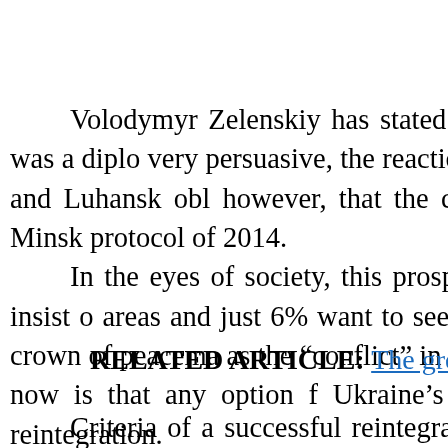Volodymyr Zelenskiy has stated recently that in legislation. Given that this formula was a diplo very persuasive, the reaction of society to the new the occupied parts of Donetsk and Luhansk obl however, that the current intensification of negotia born project as the Minsk protocol of 2014. In the eyes of society, this prospect is not fighting and freezing of the conflict. 23% insist o areas and just 6% want to see them cut off from U government wants to try on the crown of peacema as the "conflict" in Ukraine still gives them a lot The most likely scenario now is that any option f Ukraine's interests best. If that happens, society r ORDiLO reintegration.
RELATED ARTICLE: The great balancing act
Criteria of a successful reintegration seem qu leave Ukraine's territory, illegal armed formations over the border. Secondly, the puppet occupation r